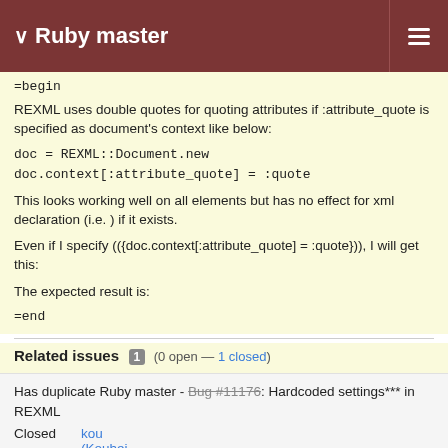Ruby master
=begin
REXML uses double quotes for quoting attributes if :attribute_quote is specified as document's context like below:

doc = REXML::Document.new
doc.context[:attribute_quote] = :quote

This looks working well on all elements but has no effect for xml declaration (i.e. ) if it exists.

Even if I specify (({doc.context[:attribute_quote] = :quote})), I will get this:

The expected result is:

=end
Related issues 1 (0 open — 1 closed)
Has duplicate Ruby master - Bug #11176: Hardcoded settings*** in REXML
Closed kou (Kouhei